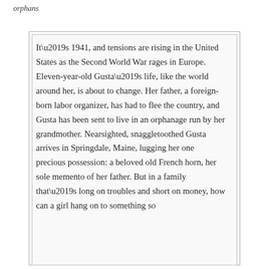orphans
It’s 1941, and tensions are rising in the United States as the Second World War rages in Europe. Eleven-year-old Gusta’s life, like the world around her, is about to change. Her father, a foreign-born labor organizer, has had to flee the country, and Gusta has been sent to live in an orphanage run by her grandmother. Nearsighted, snaggletoothed Gusta arrives in Springdale, Maine, lugging her one precious possession: a beloved old French horn, her sole memento of her father. But in a family that’s long on troubles and short on money, how can a girl hang on to something so